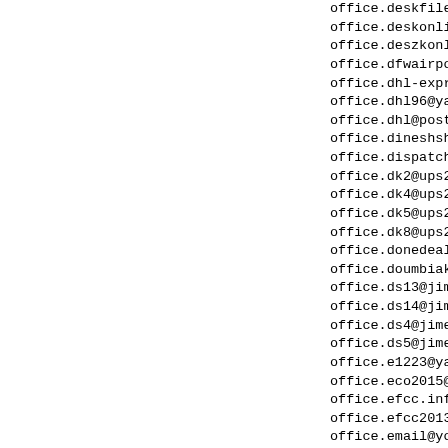office.deskfile83@yah
office.deskonline@gma
office.deszkonline@gm
office.dfwairpotonlin
office.dhl-express@po
office.dhl96@yahoo.co
office.dhl@post.cz
office.dineshsharma@g
office.dispatching@ym
office.dk2@ups21.jp.t
office.dk4@ups21.jp.t
office.dk5@ups21.jp.t
office.dk8@ups21.jp.t
office.donedeal@yahoo
office.doumbiakadar@y
office.ds13@jime1.sg.
office.ds14@jime1.sg.
office.ds4@jime1.sg.t
office.ds5@jime1.sg.t
office.e1223@yahoo.pt
office.eco2015@yandex
office.efcc.info15@gm
office.efcc2013@gmail
office.email@yopmail.
office.eoofficeoffi@g
office.erickohlman@ya
office.evangordon@gma
office.ezeprosper1@gm
office.f121@yahoo.pt
office.f1346@yahoo.pt